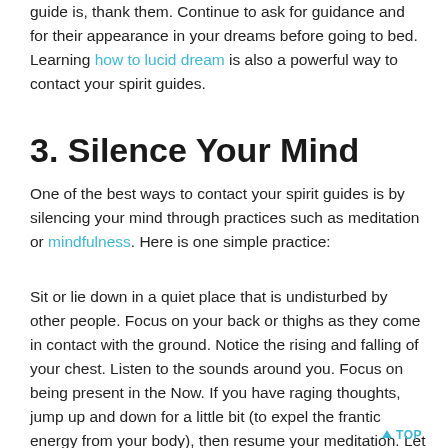guide is, thank them. Continue to ask for guidance and for their appearance in your dreams before going to bed. Learning how to lucid dream is also a powerful way to contact your spirit guides.
3. Silence Your Mind
One of the best ways to contact your spirit guides is by silencing your mind through practices such as meditation or mindfulness. Here is one simple practice:
Sit or lie down in a quiet place that is undisturbed by other people. Focus on your back or thighs as they come in contact with the ground. Notice the rising and falling of your chest. Listen to the sounds around you. Focus on being present in the Now. If you have raging thoughts, jump up and down for a little bit (to expel the frantic energy from your body), then resume your meditation. Let your thoughts become like a stream. Sit